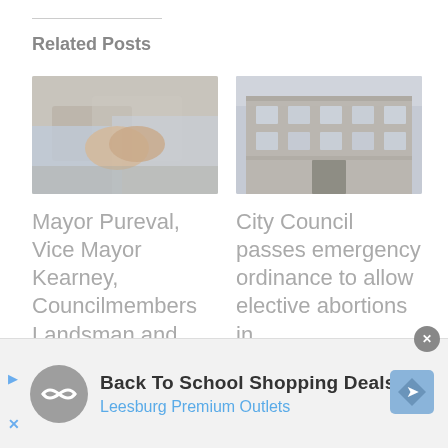Related Posts
[Figure (photo): Two people shaking hands, business meeting context]
Mayor Pureval, Vice Mayor Kearney, Councilmembers Landsman and Owens
[Figure (photo): Exterior of a stone government or civic building]
City Council passes emergency ordinance to allow elective abortions in
[Figure (advertisement): Back To School Shopping Deals - Leesburg Premium Outlets ad banner]